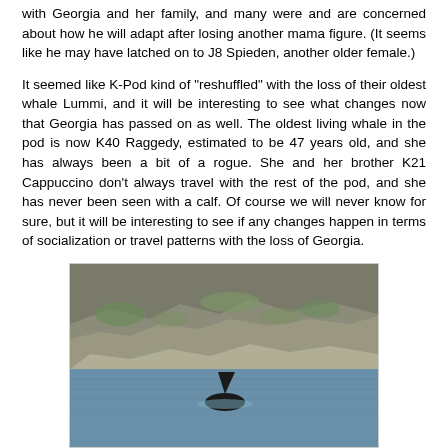with Georgia and her family, and many were and are concerned about how he will adapt after losing another mama figure. (It seems like he may have latched on to J8 Spieden, another older female.)
It seemed like K-Pod kind of "reshuffled" with the loss of their oldest whale Lummi, and it will be interesting to see what changes now that Georgia has passed on as well. The oldest living whale in the pod is now K40 Raggedy, estimated to be 47 years old, and she has always been a bit of a rogue. She and her brother K21 Cappuccino don't always travel with the rest of the pod, and she has never been seen with a calf. Of course we will never know for sure, but it will be interesting to see if any changes happen in terms of socialization or travel patterns with the loss of Georgia.
[Figure (photo): Photo of an orca whale dorsal fin visible above water, with rocky shoreline in the background.]